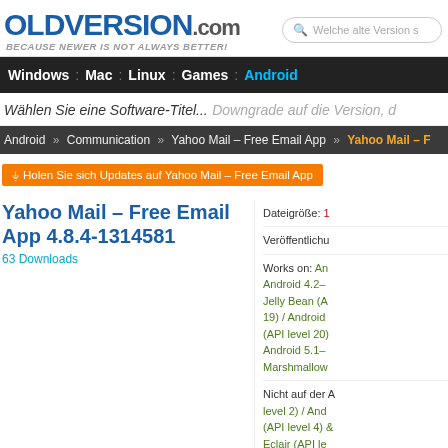OLDVERSION.com — BECAUSE NEWER IS NOT ALWAYS BETTER!
Welche alte Version s...
Windows : Mac : Linux : Games : Android
Wählen Sie eine Software-Titel... Downgrade auf die Version, d...
Android » Communication » Yahoo Mail – Free Email App » Yahoo Mail – ...
Holen Sie sich Updates auf Yahoo Mail – Free Email App
Yahoo Mail – Free Email App 4.8.4-1314581
63 Downloads
Dateigröße: 1...
Veröffentlichu...
Works on: Android 4.2– Jelly Bean (API level 19) / Android (API level 20) / Android 5.1– Marshmallow
Nicht auf der A... level 2) / And... (API level 4) ... Eclair (API le...